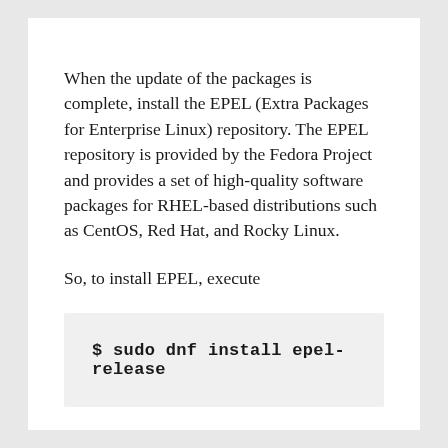When the update of the packages is complete, install the EPEL (Extra Packages for Enterprise Linux) repository. The EPEL repository is provided by the Fedora Project and provides a set of high-quality software packages for RHEL-based distributions such as CentOS, Red Hat, and Rocky Linux.
So, to install EPEL, execute
$ sudo dnf install epel-release